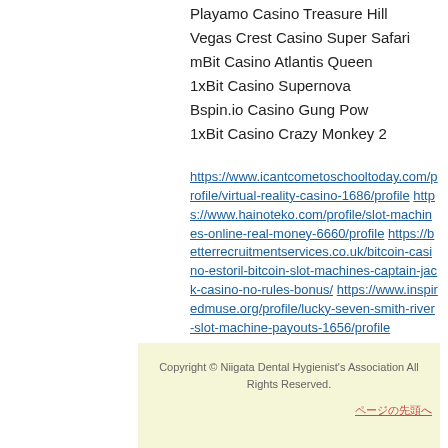Playamo Casino Treasure Hill
Vegas Crest Casino Super Safari
mBit Casino Atlantis Queen
1xBit Casino Supernova
Bspin.io Casino Gung Pow
1xBit Casino Crazy Monkey 2
https://www.icantcometoschooltoday.com/profile/virtual-reality-casino-1686/profile https://www.hainoteko.com/profile/slot-machines-online-real-money-6660/profile https://betterrecruitmentservices.co.uk/bitcoin-casino-estoril-bitcoin-slot-machines-captain-jack-casino-no-rules-bonus/ https://www.inspiredmuse.org/profile/lucky-seven-smith-river-slot-machine-payouts-1656/profile
Copyright © Niigata Dental Hygienist's Association All Rights Reserved.